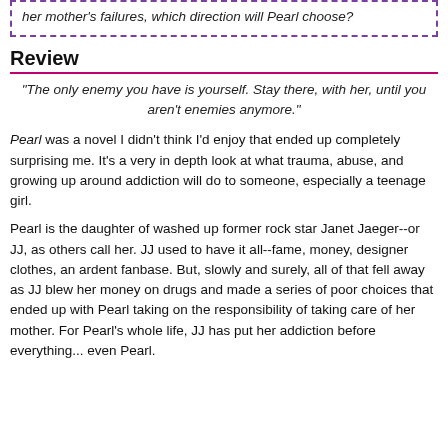her mother's failures, which direction will Pearl choose?
Review
“The only enemy you have is yourself. Stay there, with her, until you aren’t enemies anymore.”
Pearl was a novel I didn't think I'd enjoy that ended up completely surprising me. It's a very in depth look at what trauma, abuse, and growing up around addiction will do to someone, especially a teenage girl.
Pearl is the daughter of washed up former rock star Janet Jaeger--or JJ, as others call her. JJ used to have it all--fame, money, designer clothes, an ardent fanbase. But, slowly and surely, all of that fell away as JJ blew her money on drugs and made a series of poor choices that ended up with Pearl taking on the responsibility of taking care of her mother. For Pearl's whole life, JJ has put her addiction before everything... even Pearl.